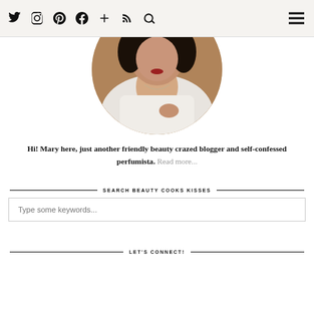Twitter Instagram Pinterest Facebook + RSS Search [hamburger menu]
[Figure (photo): Circular cropped portrait photo of a woman with short dark hair, wearing a white top with a delicate necklace, against a warm brown/wooden background.]
Hi! Mary here, just another friendly beauty crazed blogger and self-confessed perfumista. Read more...
SEARCH BEAUTY COOKS KISSES
Type some keywords...
LET'S CONNECT!